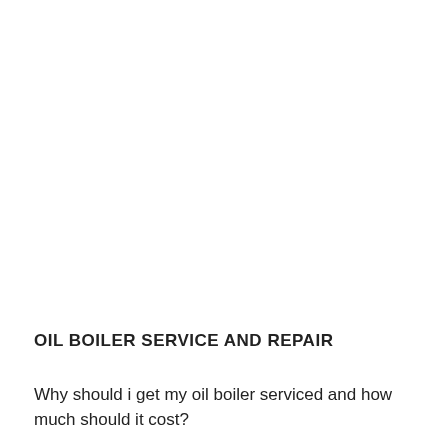OIL BOILER SERVICE AND REPAIR
Why should i get my oil boiler serviced and how much should it cost?